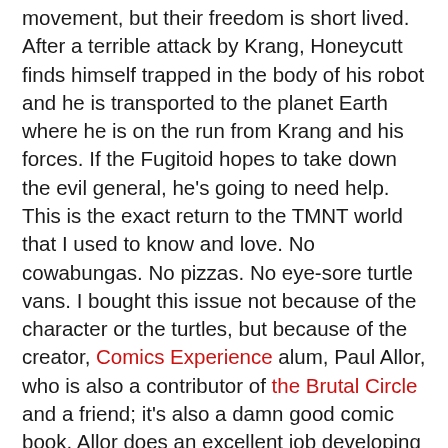movement, but their freedom is short lived. After a terrible attack by Krang, Honeycutt finds himself trapped in the body of his robot and he is transported to the planet Earth where he is on the run from Krang and his forces. If the Fugitoid hopes to take down the evil general, he's going to need help. This is the exact return to the TMNT world that I used to know and love. No cowabungas. No pizzas. No eye-sore turtle vans. I bought this issue not because of the character or the turtles, but because of the creator, Comics Experience alum, Paul Allor, who is also a contributor of the Brutal Circle and a friend; it's also a damn good comic book. Allor does an excellent job developing Professor Honeycutt as a conflicted character whose forced decision ultimately makes his life worse. A story of good and evil, living with the loss of one's family, and doing what's right provides everything that makes a compelling story and keeps the reader anxiously turning to the next page. McCaffrey provides beautiful sequentials and is especially adept at capturing a character's emotions with each panel; you feel the doubt, stress and fear. Colorist John-Paul Bove's striking colors only heighten McCaffrey's already lovely art, especially with respect to glows and lighting. Reading this single issue after so long a break from